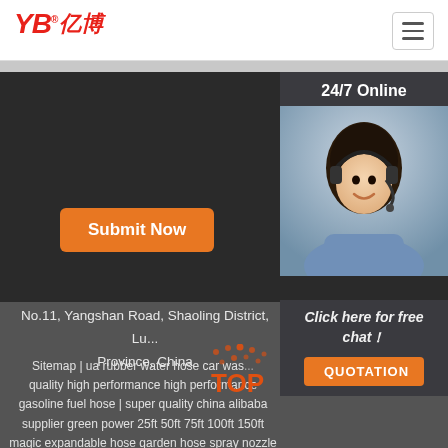[Figure (logo): YB 亿博 company logo in red italic text with registered trademark symbol]
[Figure (illustration): Hamburger menu icon button in top right corner]
[Figure (illustration): 24/7 Online customer service panel with photo of woman wearing headset and orange QUOTATION button]
Submit Now
No.11, Yangshan Road, Shaoling District, Lu... Province, China
Sitemap | ua rubber water hose car was... quality high performance high performance gasoline fuel hose | super quality china alibaba supplier green power 25ft 50ft 75ft 100ft 150ft magic expandable hose garden hose spray nozzle